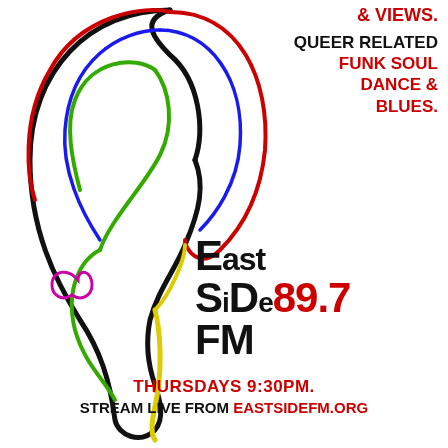[Figure (illustration): Colorful outline drawing of a human ear with multiple colored lines (red, blue, green, yellow, black, magenta) depicting the ear anatomy, on a white background.]
& VIEWS. QUEER RELATED FUNK SOUL DANCE & BLUES.
East Side FM 89.7
THURSDAYS 9:30PM. STREAM LIVE FROM EASTSIDEFM.ORG